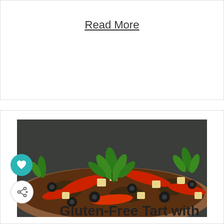Read More
[Figure (photo): Close-up photo of a gluten-free tart topped with red peppers, black olives, cubed cheese, fresh parsley, and mushrooms on a dark background.]
Gluten-Free Tart with